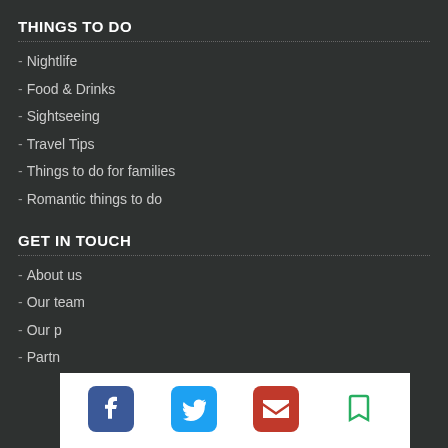THINGS TO DO
- Nightlife
- Food & Drinks
- Sightseeing
- Travel Tips
- Things to do for families
- Romantic things to do
GET IN TOUCH
- About us
- Our team
- Our p…
- Partn…
[Figure (infographic): Social media share/contact icons: Facebook, Twitter, Email, Bookmark]